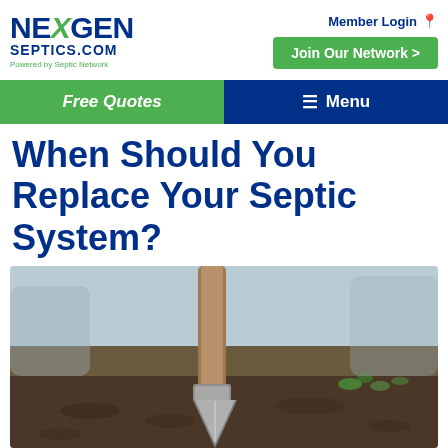NexGen Septics.com - Powered by Septic Network | Member Login | Join Our Network >
Free Quotes | Menu
When Should You Replace Your Septic System?
[Figure (photo): Close-up photo of a metal shovel blade stuck in dark soil, with blurred green plants in the background, suggesting excavation or groundwork related to septic system installation or replacement.]